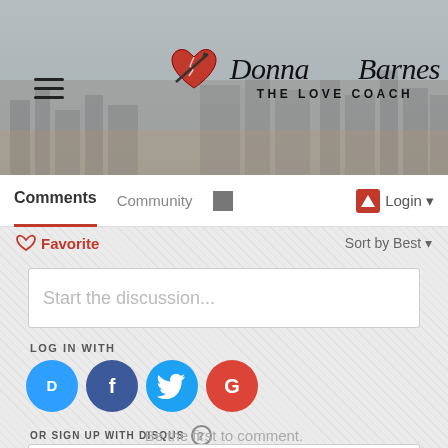[Figure (screenshot): Donna Barnes The Love Coach website header with city skyline background, hamburger menu icon on left, and logo with broken heart on right]
Comments | Community | Login
Favorite    Sort by Best
Start the discussion...
LOG IN WITH
[Figure (infographic): Social login icons: Disqus (blue), Facebook (dark blue), Twitter (light blue), Google (red)]
OR SIGN UP WITH DISQUS ?
Name
Be the first to comment.